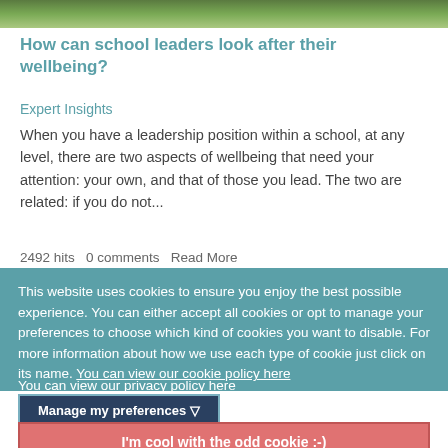[Figure (photo): Partial view of a nature/outdoor photo at the top of an article card]
How can school leaders look after their wellbeing?
Expert Insights
When you have a leadership position within a school, at any level, there are two aspects of wellbeing that need your attention: your own, and that of those you lead. The two are related: if you do not...
2492 hits   0 comments   Read More
This website uses cookies to ensure you enjoy the best possible experience. You can either accept all cookies or opt to manage your preferences to choose which kind of cookies you want to disable. For more information about how we use each type of cookie just click on its name. You can view our cookie policy here
You can view our privacy policy here
Manage my preferences ▽
I'm cool with the odd cookie :-)